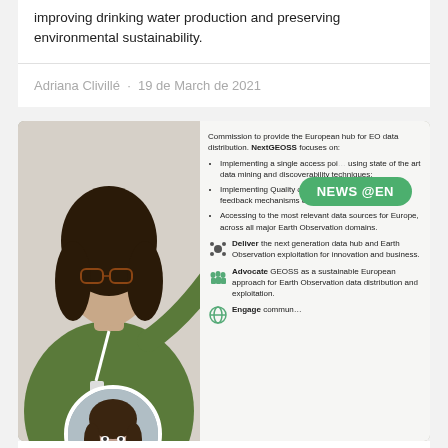improving drinking water production and preserving environmental sustainability.
Adriana Clivillé · 19 de March de 2021
[Figure (photo): Woman in green hoodie pointing at a poster about NextGEOSS Earth Observation data hub, with a NEWS @EN badge overlay. A circular portrait photo of another woman is shown in the bottom-left.]
Alaitz Zabala, an environmentalist enthralled by geographic